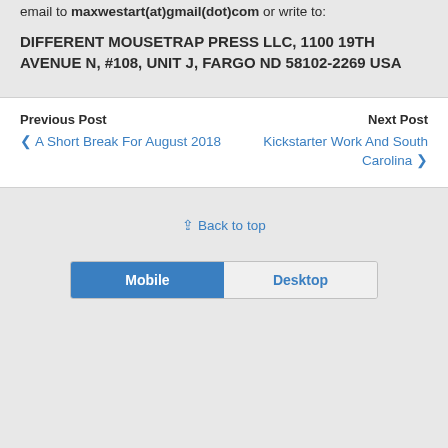email to maxwestart(at)gmail(dot)com or write to:
DIFFERENT MOUSETRAP PRESS LLC, 1100 19TH AVENUE N, #108, UNIT J, FARGO ND 58102-2269 USA
Previous Post
❮ A Short Break For August 2018
Next Post
Kickstarter Work And South Carolina ❯
⇪ Back to top
Mobile | Desktop